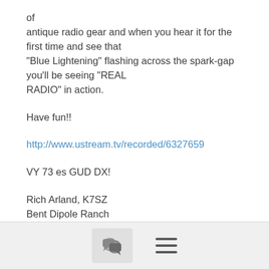of
antique radio gear and when you hear it for the first time and see that
"Blue Lightening" flashing across the spark-gap you'll be seeing "REAL
RADIO" in action.

Have fun!!
http://www.ustream.tv/recorded/6327659
VY 73 es GUD DX!

Rich Arland, K7SZ
Bent Dipole Ranch
Dacula, GA

Cogito Ergo CQ! (I Think Therefore I Ham!)
(With apologies to Rene Descartes, 1596 to 1650)
[Figure (other): Bottom navigation bar with chat bubble icon and hamburger menu icon]